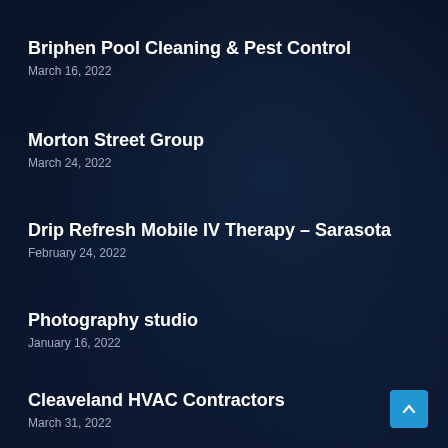Briphen Pool Cleaning & Pest Control
March 16, 2022
Morton Street Group
March 24, 2022
Drip Refresh Mobile IV Therapy – Sarasota
February 24, 2022
Photography studio
January 16, 2022
Cleaveland HVAC Contractors
March 31, 2022